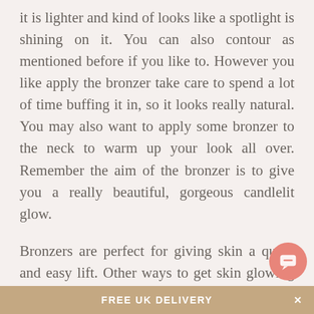it is lighter and kind of looks like a spotlight is shining on it. You can also contour as mentioned before if you like to. However you like apply the bronzer take care to spend a lot of time buffing it in, so it looks really natural. You may also want to apply some bronzer to the neck to warm up your look all over. Remember the aim of the bronzer is to give you a really beautiful, gorgeous candlelit glow.
Bronzers are perfect for giving skin a quick and easy lift. Other ways to get skin glowing is to use amazing anti-ageing skincare like those in our Nakin range. Because they are made with the best plant actives, that help to boost skin naturally, so it looks its best and is deeply nourished and energised. Having great skin is the perfect way to reduce the amount of make-up you use, but we do love a bronzer for the simple way that it ca...
FREE UK DELIVERY